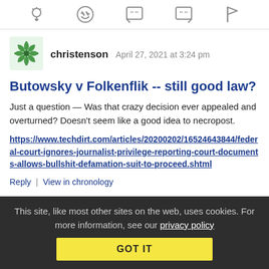[Figure (other): Row of 5 toolbar icons: lightbulb, grinning face, left quote bubble, right quote bubble, flag]
[Figure (illustration): Green snowflake/kaleidoscope avatar icon for user christenson]
christenson   April 27, 2021 at 3:24 pm
Butowsky v Folkenflik -- still good law?
Just a question — Was that crazy decision ever appealed and overturned? Doesn't seem like a good idea to necropost.
https://www.techdirt.com/articles/20200202/16524643844/federal-court-ignores-journalist-privilege-reporting-court-documents-allows-bullshit-defamation-suit-to-proceed.shtml
Reply | View in chronology
This site, like most other sites on the web, uses cookies. For more information, see our privacy policy
GOT IT